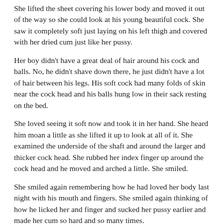She lifted the sheet covering his lower body and moved it out of the way so she could look at his young beautiful cock. She saw it completely soft just laying on his left thigh and covered with her dried cum just like her pussy.
Her boy didn't have a great deal of hair around his cock and balls. No, he didn't shave down there, he just didn't have a lot of hair between his legs. His soft cock had many folds of skin near the cock head and his balls hung low in their sack resting on the bed.
She loved seeing it soft now and took it in her hand. She heard him moan a little as she lifted it up to look at all of it. She examined the underside of the shaft and around the larger and thicker cock head. She rubbed her index finger up around the cock head and he moved and arched a little. She smiled.
She smiled again remembering how he had loved her body last night with his mouth and fingers. She smiled again thinking of how he licked her and finger and sucked her pussy earlier and made her cum so hard and so many times.